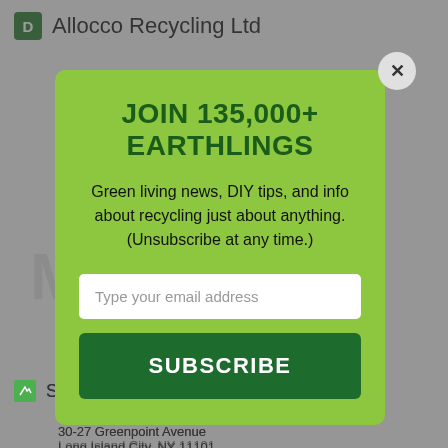Allocco Recycling Ltd
540 Kingsland Avenue
Brooklyn
MEMBER
JOIN 135,000+ EARTHLINGS
Green living news, DIY tips, and info about recycling just about anything. (Unsubscribe at any time.)
Type your email address
SUBSCRIBE
Sims Metal Management
(718) 786-6031
30-27 Greenpoint Avenue
Long Island City, NY 11101